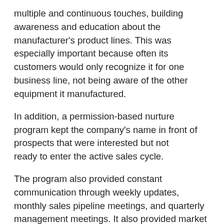multiple and continuous touches, building awareness and education about the manufacturer's product lines. This was especially important because often its customers would only recognize it for one business line, not being aware of the other equipment it manufactured.
In addition, a permission-based nurture program kept the company's name in front of prospects that were interested but not ready to enter the active sales cycle.
The program also provided constant communication through weekly updates, monthly sales pipeline meetings, and quarterly management meetings. It also provided market related feedback and on-going process improvement efforts.
Athena's outbound marketing processes allowed the manufacturer to accomplish its goal of increasing